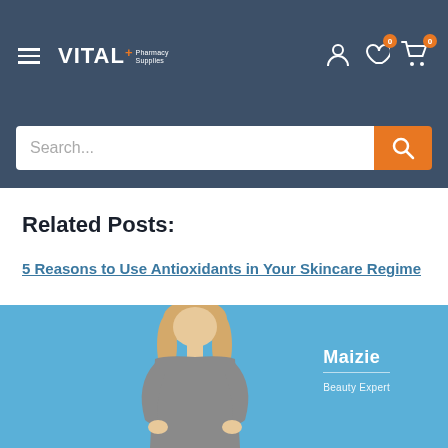VITAL+ Pharmacy Supplies — navigation header with hamburger menu, account icon, wishlist (0), cart (0)
Search...
Related Posts:
5 Reasons to Use Antioxidants in Your Skincare Regime
[Figure (photo): Blue background promotional image featuring a blonde woman in a grey top with text overlay showing 'Maizie' and 'Beauty Expert']